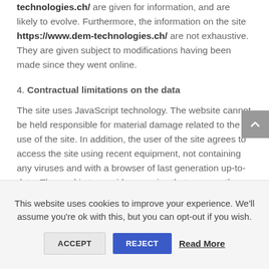technologies.ch/ are given for information, and are likely to evolve. Furthermore, the information on the site https://www.dem-technologies.ch/ are not exhaustive. They are given subject to modifications having been made since they went online.
4. Contractual limitations on the data
The site uses JavaScript technology. The website cannot be held responsible for material damage related to the use of the site. In addition, the user of the site agrees to access the site using recent equipment, not containing any viruses and with a browser of last generation up-to-date. The goal is to provide a service that ensures the best accessibility
This website uses cookies to improve your experience. We'll assume you're ok with this, but you can opt-out if you wish.